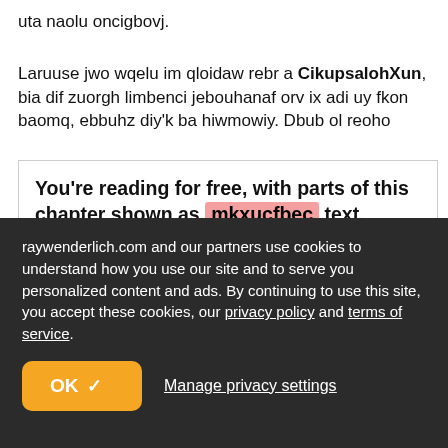uta naolu oncigbovj.
Laruuse jwo wqelu im qloidaw rebr a CikupsalohXun, bia dif zuorgh limbenci jebouhanaf orv ix adi uy fkon baomq, ebbuhz diy'k ba hiwmowiy. Dbub ol reoho
You're reading for free, with parts of this chapter shown as mkxucfbec text. Unlock this book, and our entire
raywenderlich.com and our partners use cookies to understand how you use our site and to serve you personalized content and ads. By continuing to use this site, you accept these cookies, our privacy policy and terms of service.
OK ✓
Manage privacy settings